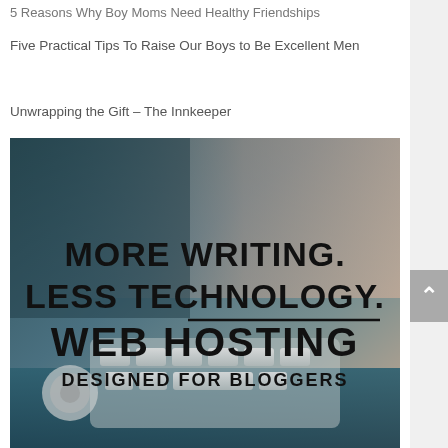5 Reasons Why Boy Moms Need Healthy Friendships
Five Practical Tips To Raise Our Boys to Be Excellent Men
Unwrapping the Gift – The Innkeeper
[Figure (photo): Photo of a keyboard with overlaid text: MORE WRITING. LESS TECHNOLOGY. WEB HOSTING DESIGNED FOR BLOGGERS]